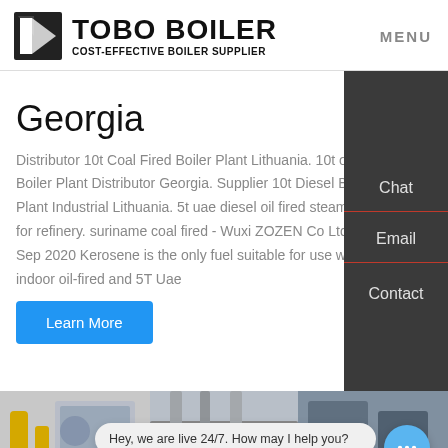TOBO BOILER COST-EFFECTIVE BOILER SUPPLIER | MENU
Georgia
Distributor 10t Coal Fired Boiler Plant Lithuania. 10t oil fired Boiler Plant Distributor Georgia. Supplier 10t Diesel Boiler Plant Industrial Lithuania. 5t uae diesel oil fired steam boiler for refinery. suriname coal fired - Wuxi ZOZEN Co Ltd 23 Sep 2020 Kerosene is the only fuel suitable for use with an indoor oil-fired and 5T Uae
Learn More
[Figure (photo): Industrial boiler facility interior photos, three side by side]
Hey, we are live 24/7. How may I help you?